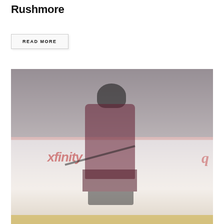Rushmore
READ MORE
[Figure (photo): Hockey player in Colorado Avalanche maroon/burgundy jersey skating on ice at an arena, with crowd visible in background and Xfinity advertiser boards visible at rink level. Player is in skating motion. Photo has a faded/washed out color treatment.]